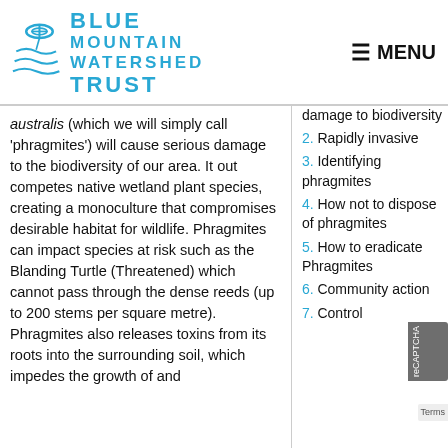[Figure (logo): Blue Mountain Watershed Trust logo with stylized tree/water icon and teal text]
≡ MENU
australis (which we will simply call 'phragmites') will cause serious damage to the biodiversity of our area. It out competes native wetland plant species, creating a monoculture that compromises desirable habitat for wildlife. Phragmites can impact species at risk such as the Blanding Turtle (Threatened) which cannot pass through the dense reeds (up to 200 stems per square metre). Phragmites also releases toxins from its roots into the surrounding soil, which impedes the growth of and
damage to biodiversity
2. Rapidly invasive
3. Identifying phragmites
4. How not to dispose of phragmites
5. How to eradicate Phragmites
6. Community action
7. Control